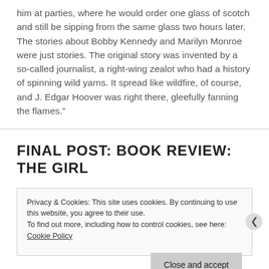him at parties, where he would order one glass of scotch and still be sipping from the same glass two hours later. The stories about Bobby Kennedy and Marilyn Monroe were just stories. The original story was invented by a so-called journalist, a right-wing zealot who had a history of spinning wild yarns. It spread like wildfire, of course, and J. Edgar Hoover was right there, gleefully fanning the flames.”
FINAL POST: BOOK REVIEW: THE GIRL
Privacy & Cookies: This site uses cookies. By continuing to use this website, you agree to their use.
To find out more, including how to control cookies, see here: Cookie Policy